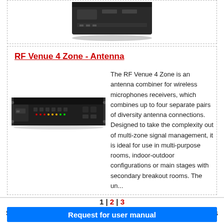[Figure (photo): Partial view of a rack-mounted audio device (top portion cut off), dark colored hardware unit]
RF Venue 4 Zone - Antenna
[Figure (photo): RF Venue 4 Zone antenna combiner rack unit, black 1U rack-mount device with front panel controls and connectors]
The RF Venue 4 Zone is an antenna combiner for wireless microphones receivers, which combines up to four separate pairs of diversity antenna connections. Designed to take the complexity out of multi-zone signal management, it is ideal for use in multi-purpose rooms, indoor-outdoor configurations or main stages with secondary breakout rooms. The un...
1 | 2 | 3
Showing: 1-10 products
Total: 30 products
Request for user manual